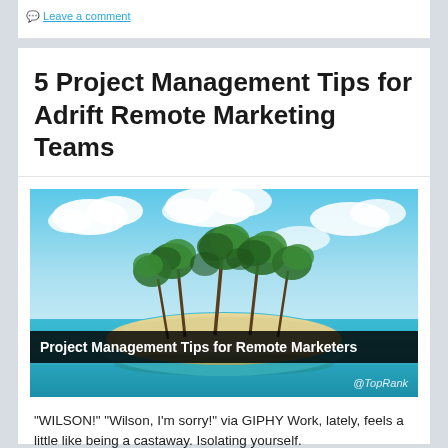Leave a comment
5 Project Management Tips for Adrift Remote Marketing Teams
[Figure (photo): Photo of a small tropical island with palm trees surrounded by turquoise water and a blue sky with white clouds. Overlaid with a black banner reading 'Project Management Tips for Remote Marketers' and '@TopRank' watermark.]
"WILSON!" "Wilson, I'm sorry!" via GIPHY Work, lately, feels a little like being a castaway. Isolating yourself.